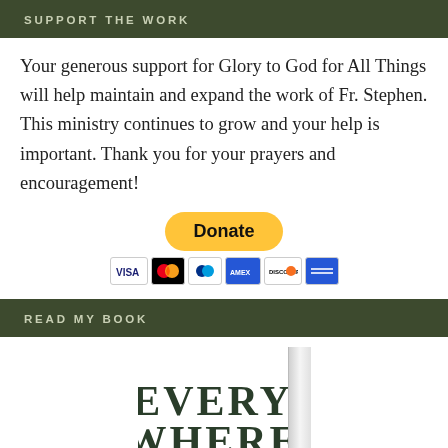SUPPORT THE WORK
Your generous support for Glory to God for All Things will help maintain and expand the work of Fr. Stephen. This ministry continues to grow and your help is important. Thank you for your prayers and encouragement!
[Figure (other): PayPal Donate button with payment card icons (Visa, Mastercard, PayPal, American Express, Discover, and another card)]
READ MY BOOK
[Figure (photo): Book cover showing large text 'EVERY WHERE' in dark green serif font on white background, with book spine visible on the right side]